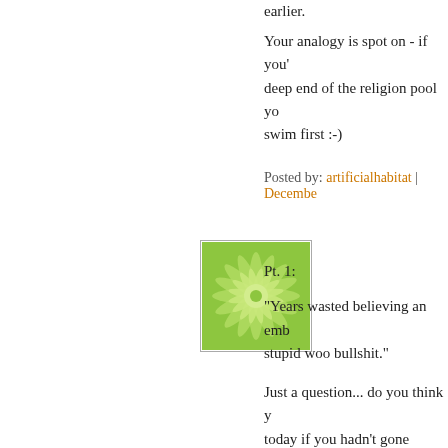earlier.
Your analogy is spot on - if you're deep end of the religion pool yo swim first :-)
Posted by: artificialhabitat | December
[Figure (illustration): Green geometric mandala/starburst pattern avatar image with light green background]
Pt. 1:
"Years wasted believing an emb stupid woo bullshit."
Just a question... do you think y today if you hadn't gone through Do you think you'd be able to u do about believers and theists o atheism so clearly and come up and articulate those ideas in the
I'm not saying one way or the o